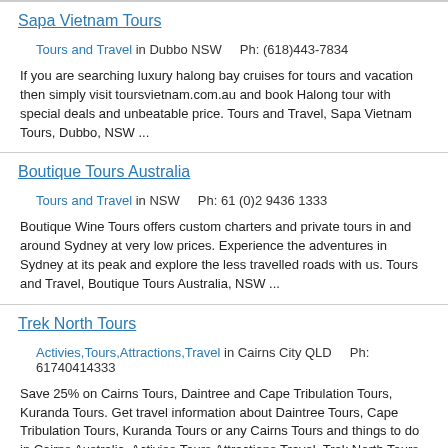Sapa Vietnam Tours
Tours and Travel in Dubbo NSW    Ph: (618)443-7834
If you are searching luxury halong bay cruises for tours and vacation then simply visit toursvietnam.com.au and book Halong tour with special deals and unbeatable price. Tours and Travel, Sapa Vietnam Tours, Dubbo, NSW ...
Boutique Tours Australia
Tours and Travel in NSW    Ph: 61 (0)2 9436 1333
Boutique Wine Tours offers custom charters and private tours in and around Sydney at very low prices. Experience the adventures in Sydney at its peak and explore the less travelled roads with us. Tours and Travel, Boutique Tours Australia, NSW ...
Trek North Tours
Activies,Tours,Attractions,Travel in Cairns City QLD    Ph: 61740414333
Save 25% on Cairns Tours, Daintree and Cape Tribulation Tours, Kuranda Tours. Get travel information about Daintree Tours, Cape Tribulation Tours, Kuranda Tours or any Cairns Tours and things to do in Cairns Australia. Activies,Tours,Attractions,Travel, Trek North Tours, Cairns City, QLD ...
Scenic Hinterland Day Tours